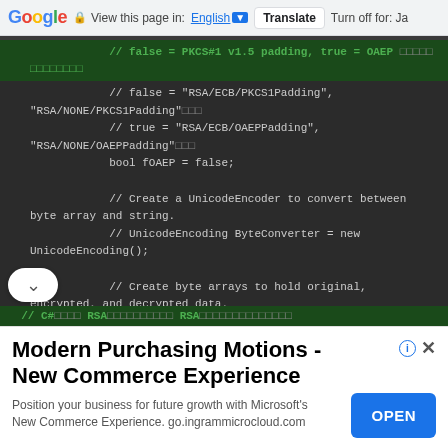Google | View this page in: English | Translate | Turn off for: Ja
[Figure (screenshot): Dark-themed code editor showing C# RSA encryption code with green highlighted comments and variable declarations including fOAEP, UnicodeEncoder, and byte array declarations]
Modern Purchasing Motions - New Commerce Experience
Position your business for future growth with Microsoft's New Commerce Experience. go.ingrammicrocloud.com